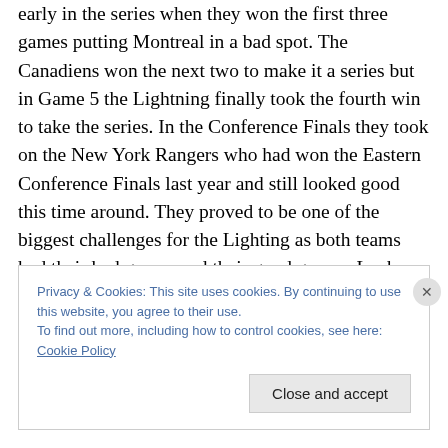early in the series when they won the first three games putting Montreal in a bad spot. The Canadiens won the next two to make it a series but in Game 5 the Lightning finally took the fourth win to take the series. In the Conference Finals they took on the New York Rangers who had won the Eastern Conference Finals last year and still looked good this time around. They proved to be one of the biggest challenges for the Lighting as both teams had their bad games and their good games. Lucky for the Lightning they experienced a good game in Game 7 to get the series win. Now they enter the Finals with a chance to
Privacy & Cookies: This site uses cookies. By continuing to use this website, you agree to their use.
To find out more, including how to control cookies, see here: Cookie Policy